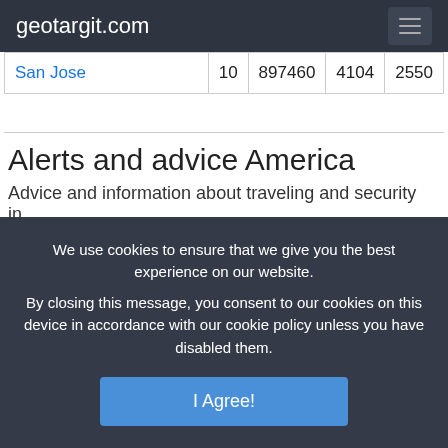geotargit.com
| San Jose | 10 | 897460 | 4104 | 2550 |
Alerts and advice America
Advice and information about traveling and security in America
We use cookies to ensure that we give you the best experience on our website.
By closing this message, you consent to our cookies on this device in accordance with our cookie policy unless you have disabled them.
I Agree!